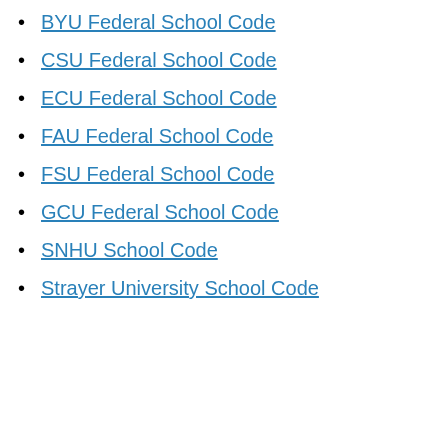BYU Federal School Code
CSU Federal School Code
ECU Federal School Code
FAU Federal School Code
FSU Federal School Code
GCU Federal School Code
SNHU School Code
Strayer University School Code